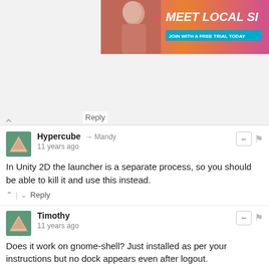[Figure (photo): Advertisement banner showing a woman with text 'MEET LOCAL SI' and 'JOIN WITH A FREE TRIAL TODAY']
Reply
Hypercube → Mandy
11 years ago
In Unity 2D the launcher is a separate process, so you should be able to kill it and use this instead.
Timothy
11 years ago
Does it work on gnome-shell? Just installed as per your instructions but no dock appears even after logout.
Henry → Timothy
11 years ago
I had the same issue. I added to the start up programs "dockx" though, and it works now upon logging in.